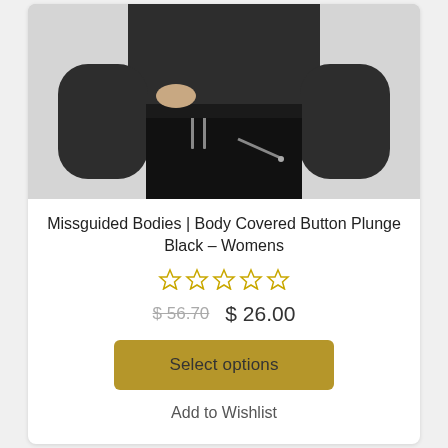[Figure (photo): A woman wearing a black long-sleeve top and black high-waisted pants with silver zipper details, torso area visible]
Missguided Bodies | Body Covered Button Plunge Black – Womens
★★★★★ (0 rating stars, all empty)
$ 56.70  $ 26.00
Select options
Add to Wishlist